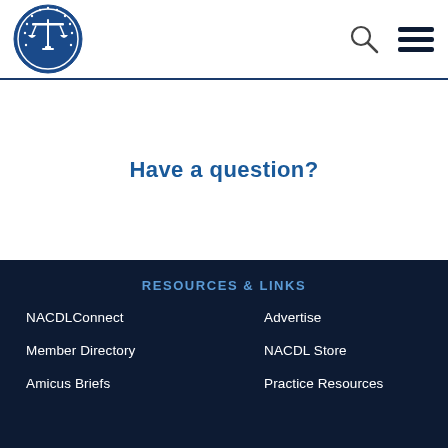[Figure (logo): NACDL National Association of Criminal Defense Lawyers circular seal logo in blue and white with scales of justice]
Have a question?
RESOURCES & LINKS
NACDLConnect
Advertise
Member Directory
NACDL Store
Amicus Briefs
Practice Resources